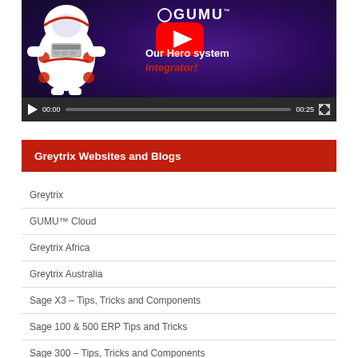[Figure (screenshot): YouTube video thumbnail showing a space-themed GUMU animation with an astronaut robot, YouTube play button, GUMU logo, and text 'Our Hero system integrator!' with video controls showing 00:00 / 00:25]
Greytrix Websites and Blogs
Greytrix
GUMU™ Cloud
Greytrix Africa
Greytrix Australia
Sage X3 – Tips, Tricks and Components
Sage 100 & 500 ERP Tips and Tricks
Sage 300 – Tips, Tricks and Components